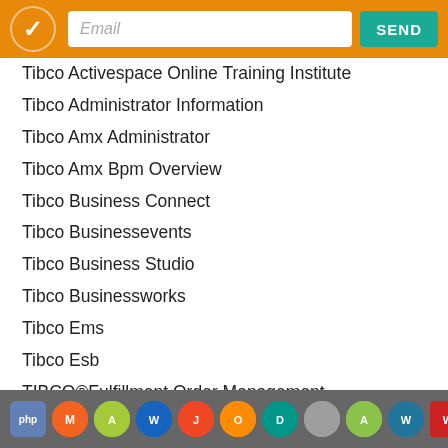Email | SEND
Tibco Activespace Online Training Institute
Tibco Administrator Information
Tibco Amx Administrator
Tibco Amx Bpm Overview
Tibco Business Connect
Tibco Businessevents
Tibco Business Studio
Tibco Businessworks
Tibco Ems
Tibco Esb
TIBCO®Fulfillment Order Management
Tibco Hawk
Tibco Interview Tips
Tibco Iprocess
Tibco Rendezvous
What Is Tibco Amx Bpm
Technology icons footer bar